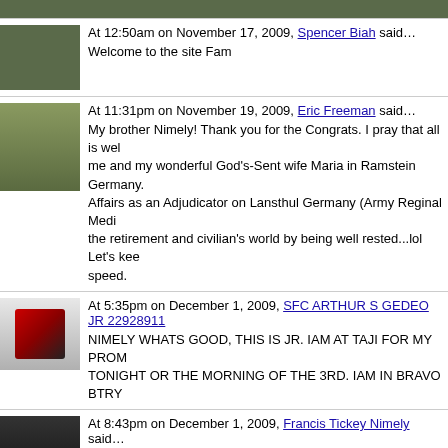At 12:50am on November 17, 2009, Spencer Biah said… Welcome to the site Fam
At 11:31pm on November 19, 2009, Eric Freeman said… My brother Nimely! Thank you for the Congrats. I pray that all is well me and my wonderful God's-Sent wife Maria in Ramstein Germany. Affairs as an Adjudicator on Lansthul Germany (Army Reginal Medi the retirement and civilian's world by being well rested...lol Let's kee speed.
At 5:35pm on December 1, 2009, SFC ARTHUR S GEDEO JR 22928911 NIMELY WHATS GOOD, THIS IS JR. IAM AT TAJI FOR MY PROM TONIGHT OR THE MORNING OF THE 3RD. IAM IN BRAVO BTRY
At 8:43pm on December 1, 2009, Francis Tickey Nimely said… Cobgradulations to you brother. you deserved the promotion. You ta in Feb . GOd Bless and be safe
At 11:25am on February 26, 2010, Sam Roberts said… My wife told me that you were in town this past weekend. I know yo
At 7:17am on January 22, 2011, Abraham Tarr said… hey alfred sorry for d late respond mehn. Im at fort hood (west) tx